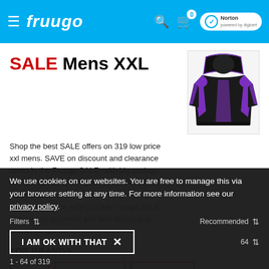fruugo
SALE Mens XXL
[Figure (photo): Black and purple hoodie jacket product image on white background]
Shop the best SALE offers on 319 low price xxl mens. SAVE on discount and clearance mens in the Fruugo SALE, with big savings and cheap deals on Pyltt, Unbrandded and Brawdress. Buy mens online safely in the Fruugo SALE, with secure payment and fast shipping to United Kingdom.
TOP BRANDS
Pyltt
Unbrandded
Brawdress
We use cookies on our websites. You are free to manage this via your browser setting at any time. For more information see our privacy policy.
I AM OK WITH THAT  ×
Filters    Recommended
1 - 64 of 319    64